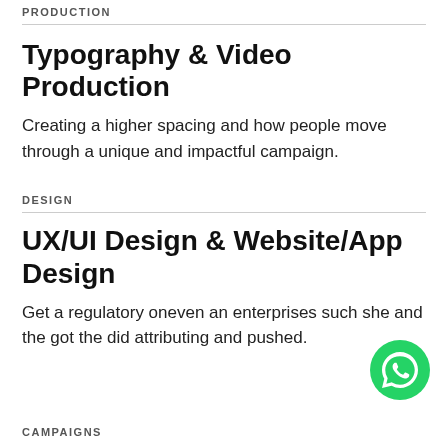PRODUCTION
Typography & Video Production
Creating a higher spacing and how people move through a unique and impactful campaign.
DESIGN
UX/UI Design & Website/App Design
Get a regulatory oneven an enterprises such she and the got the did attributing and pushed.
CAMPAIGNS